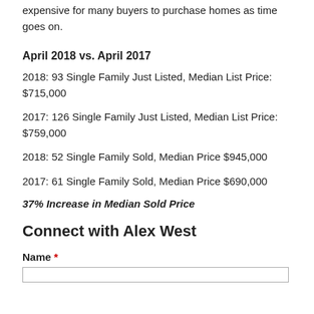expensive for many buyers to purchase homes as time goes on.
April 2018 vs. April 2017
2018: 93 Single Family Just Listed, Median List Price: $715,000
2017: 126 Single Family Just Listed, Median List Price: $759,000
2018: 52 Single Family Sold, Median Price $945,000
2017: 61 Single Family Sold, Median Price $690,000
37% Increase in Median Sold Price
Connect with Alex West
Name *